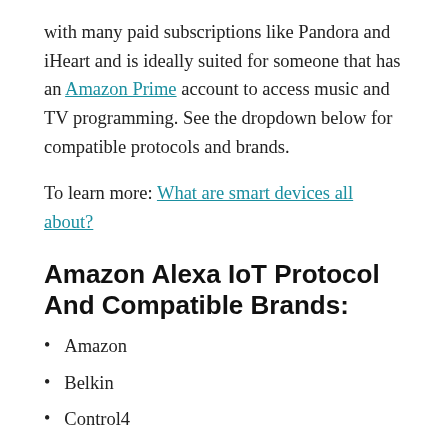with many paid subscriptions like Pandora and iHeart and is ideally suited for someone that has an Amazon Prime account to access music and TV programming. See the dropdown below for compatible protocols and brands.
To learn more: What are smart devices all about?
Amazon Alexa IoT Protocol And Compatible Brands:
Amazon
Belkin
Control4